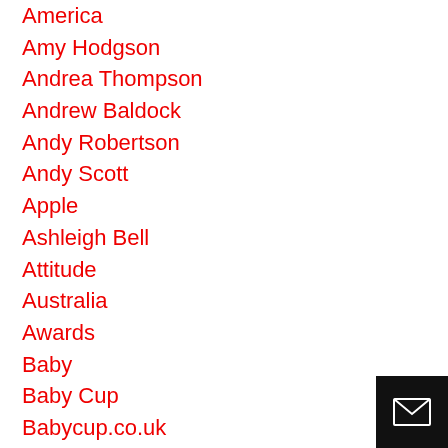America
Amy Hodgson
Andrea Thompson
Andrew Baldock
Andy Robertson
Andy Scott
Apple
Ashleigh Bell
Attitude
Australia
Awards
Baby
Baby Cup
Babycup.co.uk
Bali
Bali Body
Balls
[Figure (illustration): Black square button with white envelope/mail icon in bottom-right corner]